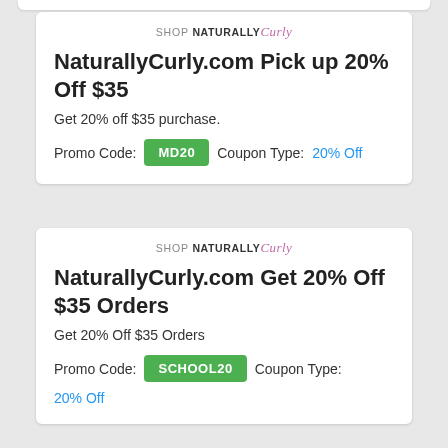[Figure (logo): SHOP NATURALLY Curly logo - top card]
NaturallyCurly.com Pick up 20% Off $35
Get 20% off $35 purchase.
Promo Code: MD20   Coupon Type: 20% Off
[Figure (logo): SHOP NATURALLY Curly logo - bottom card]
NaturallyCurly.com Get 20% Off $35 Orders
Get 20% Off $35 Orders
Promo Code: SCHOOL20   Coupon Type: 20% Off